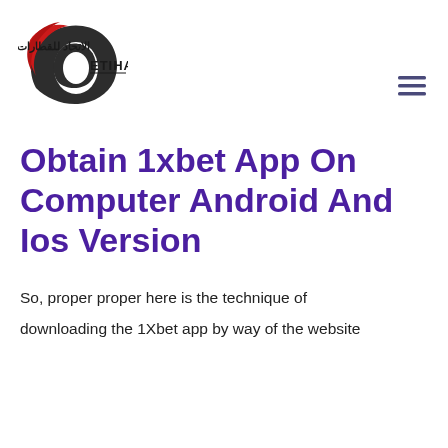[Figure (logo): Etihad Rail logo: circular swoosh icon with dark charcoal and red curved lines, Arabic text 'الاتحاد للقطارات' and English text 'ETIHAD RAIL' to the right]
Obtain 1xbet App On Computer Android And Ios Version
So, proper proper here is the technique of downloading the 1Xbet app by way of the website